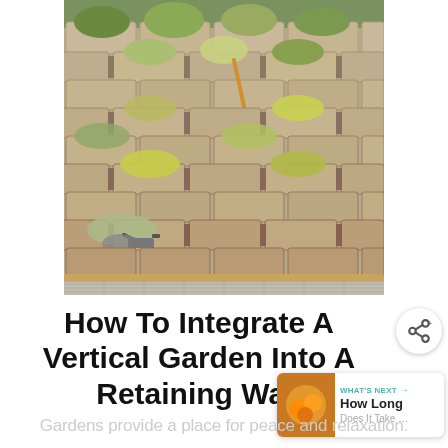[Figure (photo): A person watering plants growing in a stacked concrete block retaining wall used as a vertical garden. Multiple plants of various types fill the open cavities of the blocks arranged in a staggered pattern. A garden hose nozzle and gloved hand are visible in the foreground.]
How To Integrate A Vertical Garden Into A Retaining Wall
Gardens provide a place for peace and relaxation.